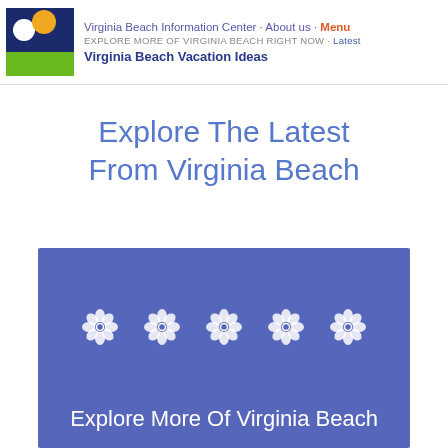Virginia Beach Information Center · About us · Menu | EXPLORE MORE OF VIRGINIA BEACH RIGHT NOW · Latest | Virginia Beach Vacation Ideas
Explore The Latest From Virginia Beach
[Figure (illustration): Blue-purple card with five white flower/daisy icons arranged in a row, and partial text 'Explore More Of Virginia Beach' at the bottom]